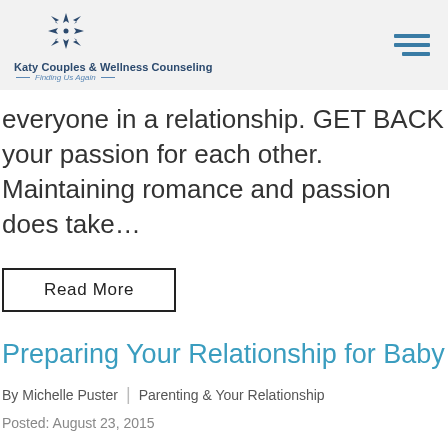Katy Couples & Wellness Counseling — Finding Us Again —
everyone in a relationship. GET BACK your passion for each other. Maintaining romance and passion does take...
Read More
Preparing Your Relationship for Baby
By Michelle Puster | Parenting & Your Relationship
Posted: August 23, 2015